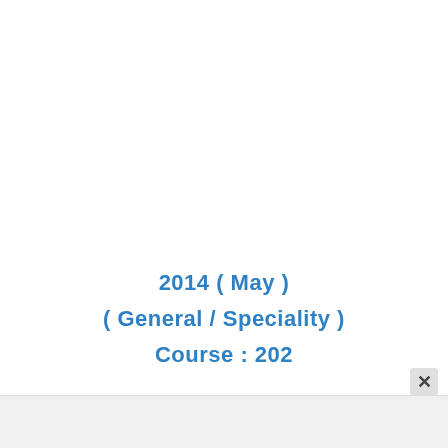2014 ( May )
( General / Speciality )
Course : 202